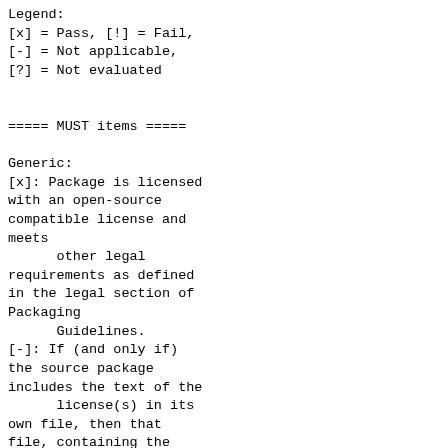Legend:
[x] = Pass, [!] = Fail,
[-] = Not applicable,
[?] = Not evaluated
===== MUST items =====
Generic:
[x]: Package is licensed with an open-source compatible license and meets
      other legal requirements as defined in the legal section of Packaging
      Guidelines.
[-]: If (and only if) the source package includes the text of the
      license(s) in its own file, then that file, containing the text of the
      license(s) for the package is included in %license.
[x]: License field in the package spec file matches the actual